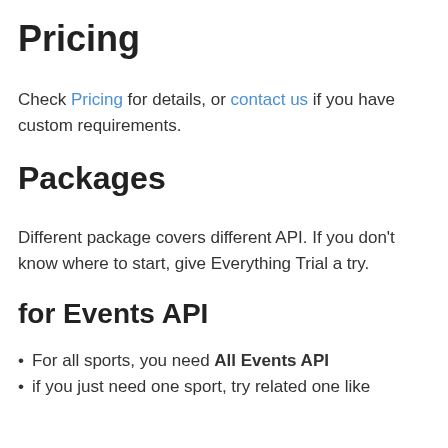Pricing
Check Pricing for details, or contact us if you have custom requirements.
Packages
Different package covers different API. If you don't know where to start, give Everything Trial a try.
for Events API
For all sports, you need All Events API
if you just need one sport, try related one like